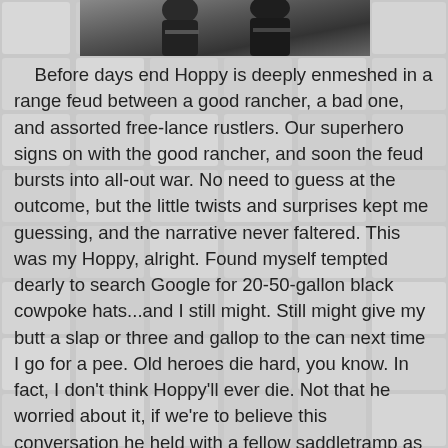[Figure (photo): Black and white photograph of person(s), partially visible at the top of the page]
Before days end Hoppy is deeply enmeshed in a range feud between a good rancher, a bad one, and assorted free-lance rustlers. Our superhero signs on with the good rancher, and soon the feud bursts into all-out war. No need to guess at the outcome, but the little twists and surprises kept me guessing, and the narrative never faltered. This was my Hoppy, alright. Found myself tempted dearly to search Google for 20-50-gallon black cowpoke hats...and I still might. Still might give my butt a slap or three and gallop to the can next time I go for a pee. Old heroes die hard, you know. In fact, I don't think Hoppy'll ever die. Not that he worried about it, if we're to believe this conversation he held with a fellow saddletramp as they prepare for heavy lead-slinging exchange with some really nasty humanoid varmints: